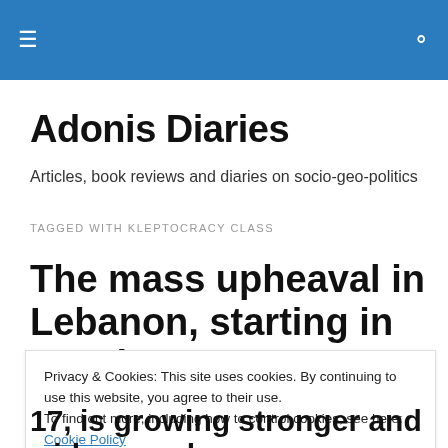Adonis Diaries — navigation header with hamburger menu and search icon
Adonis Diaries
Articles, book reviews and diaries on socio-geo-politics
TAGGED WITH KLEPTOCRACY CLASS
The mass upheaval in Lebanon, starting in October
Privacy & Cookies: This site uses cookies. By continuing to use this website, you agree to their use.
To find out more, including how to control cookies, see here: Cookie Policy
17, is growing stronger and widespread